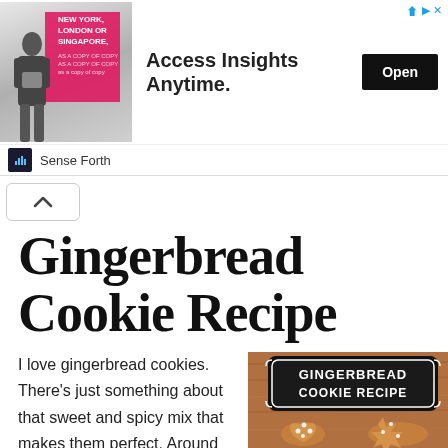[Figure (infographic): Advertisement banner: image of a man in front of a pink bar chart, text 'NEW YORK, LONDON OR SINGAPORE,' with headline 'Access Insights Anytime.' and an Open button. Brand: Sense Forth.]
[Figure (infographic): Collapse/chevron-up button UI element]
Gingerbread Cookie Recipe
I love gingerbread cookies. There's just something about that sweet and spicy mix that makes them perfect. Around here it doesn't really feel
[Figure (photo): Photo of gingerbread cookies on a wooden surface with a black decorative sign reading 'GINGERBREAD COOKIE RECIPE']